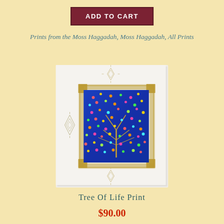ADD TO CART
Prints from the Moss Haggadah, Moss Haggadah, All Prints
[Figure (illustration): A print artwork showing a colorful blue Tree of Life illuminated manuscript style illustration with decorative gold border and ornamental corner pieces on a white/cream background. The central image features a vibrant blue background with a colorful tree of life motif surrounded by an intricate lace-like golden border.]
Tree of Life Print
$90.00